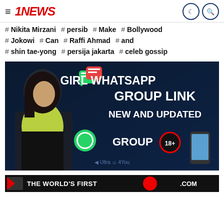≡ 1NEWS
# Nikita Mirzani  # persib  # Make  # Bollywood
# Jokowi  # Can  # Raffi Ahmad  # and
# shin tae-yong  # persija jakarta  # celeb gossip
[Figure (photo): Advertisement banner showing a young woman in a lime green top on a dark background with text: GIRL WHATSAPP GROUP LINK NEW AND UPDATED GROUP 18+, WhatsApp icon, Ultra 4You watermark]
[Figure (photo): Partial bottom banner showing THE WORLD'S FIRST text on dark background with red circle logo and .COM text]